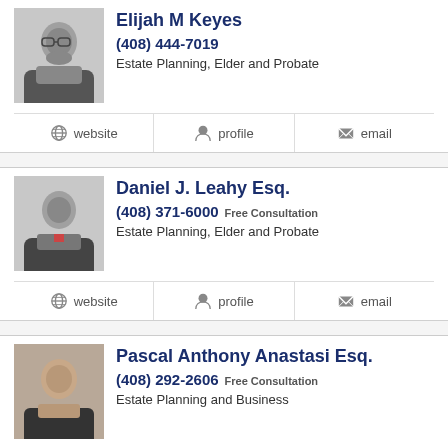Elijah M Keyes
(408) 444-7019
Estate Planning, Elder and Probate
website  profile  email
Daniel J. Leahy Esq.
(408) 371-6000 Free Consultation
Estate Planning, Elder and Probate
website  profile  email
Pascal Anthony Anastasi Esq.
(408) 292-2606 Free Consultation
Estate Planning and Business
website  profile  email